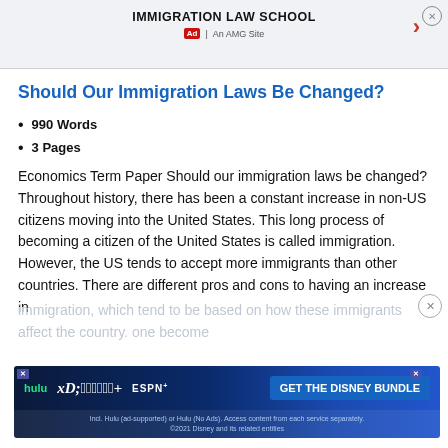IMMIGRATION LAW SCHOOL
Should Our Immigration Laws Be Changed?
990 Words
3 Pages
Economics Term Paper Should our immigration laws be changed? Throughout history, there has been a constant increase in non-US citizens moving into the United States. This long process of becoming a citizen of the United States is called immigration. However, the US tends to accept more immigrants than other countries. There are different pros and cons to having an increase in immigration, which tend to be based on how these immigrants affect the country. one become
[Figure (screenshot): Disney Bundle advertisement banner showing Hulu, Disney+, ESPN+ logos with 'GET THE DISNEY BUNDLE' call-to-action button and fine print about services]